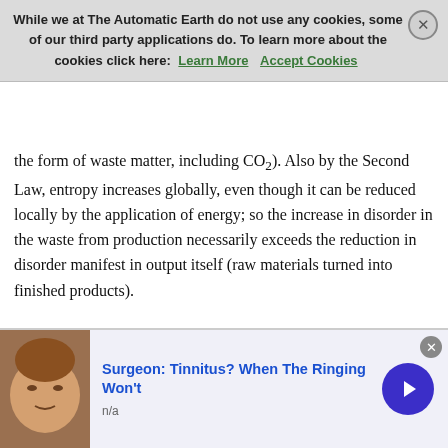the form of waste matter, including CO2). Also by the Second Law, entropy increases globally, even though it can be reduced locally by the application of energy; so the increase in disorder in the waste from production necessarily exceeds the reduction in disorder manifest in output itself (raw materials turned into finished products).
[Figure (infographic): Diagram showing food (plate of food image) and energy (burning coal image) as inputs via blue arrows to a worker/machine in the middle, then a large blue arrow pointing right to outputs: a landfill waste site (top right) and a smokestack/chimney (bottom right).]
[Figure (other): Advertisement banner: person lying down, headline 'Surgeon: Tinnitus? When The Ringing Won't', subtext 'n/a', with a blue circular arrow button.]